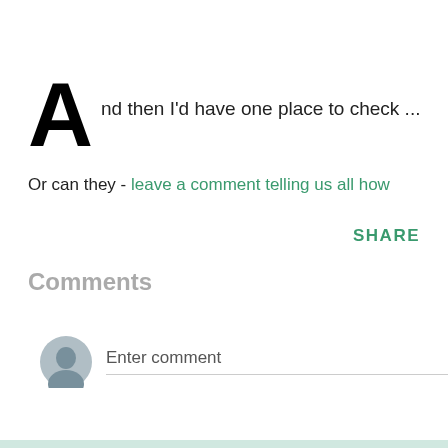And then I'd have one place to check ...
Or can they - leave a comment telling us all how
SHARE
Comments
Enter comment